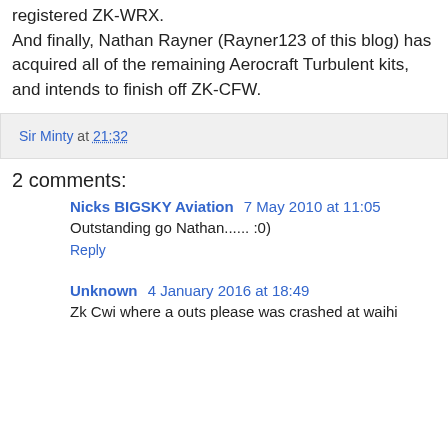registered ZK-WRX.
And finally, Nathan Rayner (Rayner123 of this blog) has acquired all of the remaining Aerocraft Turbulent kits, and intends to finish off ZK-CFW.
Sir Minty at 21:32
2 comments:
Nicks BIGSKY Aviation 7 May 2010 at 11:05
Outstanding go Nathan...... :0)
Reply
Unknown 4 January 2016 at 18:49
Zk Cwi where a outs please was crashed at waihi